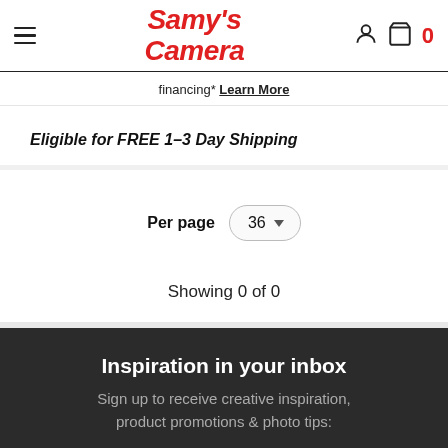Samy's Camera
financing* Learn More
Eligible for FREE 1-3 Day Shipping
Per page  36
Showing 0 of 0
Inspiration in your inbox
Sign up to receive creative inspiration, product promotions & photo tips: